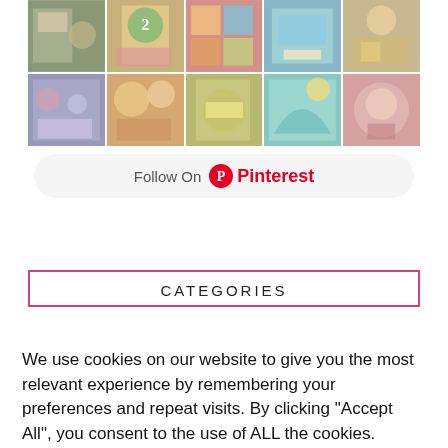[Figure (screenshot): Pinterest widget showing a grid of 10 colorful scrapbook/craft photo thumbnails arranged in 2 rows of 5]
Follow On Pinterest
CATEGORIES
We use cookies on our website to give you the most relevant experience by remembering your preferences and repeat visits. By clicking "Accept All", you consent to the use of ALL the cookies. However, you may visit "Cookie Settings" to provide a controlled consent.
Cookie Settings
Accept All